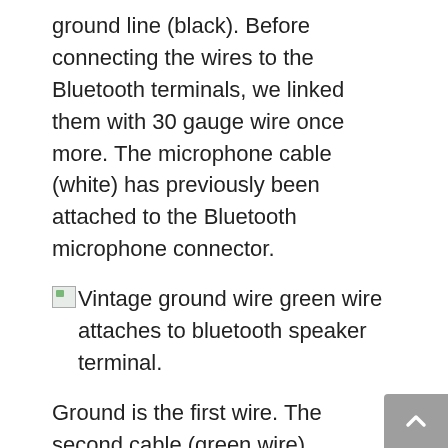ground line (black). Before connecting the wires to the Bluetooth terminals, we linked them with 30 gauge wire once more. The microphone cable (white) has previously been attached to the Bluetooth microphone connector.
[Figure (photo): Broken image placeholder icon followed by caption text: Vintage ground wire green wire attaches to bluetooth speaker terminal.]
Vintage ground wire green wire attaches to bluetooth speaker terminal.
Ground is the first wire. The second cable (green wire) connects to the Bluetooth speaker terminal. Ground is the third wire. Wire #4: Connects the output of the boost converter to